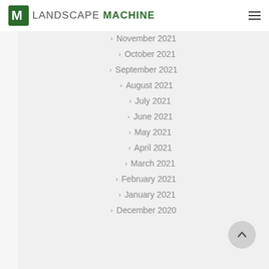Landscape Machine
November 2021
October 2021
September 2021
August 2021
July 2021
June 2021
May 2021
April 2021
March 2021
February 2021
January 2021
December 2020